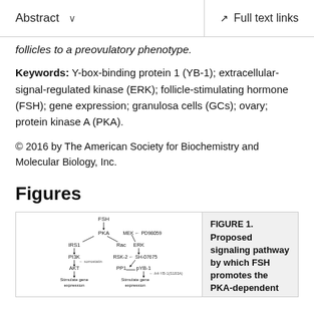Abstract   Full text links
follicles to a preovulatory phenotype.
Keywords: Y-box-binding protein 1 (YB-1); extracellular-signal-regulated kinase (ERK); follicle-stimulating hormone (FSH); gene expression; granulosa cells (GCs); ovary; protein kinase A (PKA).
© 2016 by The American Society for Biochemistry and Molecular Biology, Inc.
Figures
[Figure (schematic): Proposed signaling pathway diagram showing FSH at top, leading to PKA, IRS1, PI3K, AKT nodes, with MEK, ERK, RSK-2, PP1, pYB-1 nodes and connections, stimulating gene expression]
FIGURE 1. Proposed signaling pathway by which FSH promotes the PKA-dependent phosphorylation of